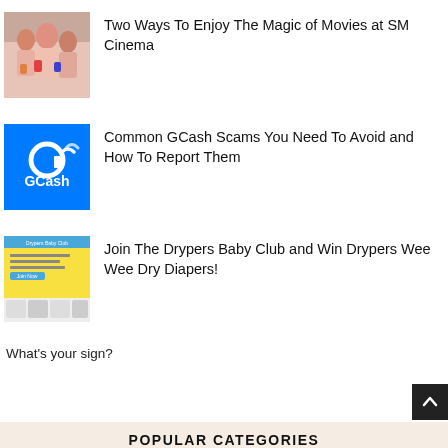[Figure (photo): Photo of people at SM Cinema holding drinks]
Two Ways To Enjoy The Magic of Movies at SM Cinema
[Figure (logo): GCash logo on blue background]
Common GCash Scams You Need To Avoid and How To Report Them
[Figure (screenshot): Screenshot of Drypers Baby Club webpage with yellow background]
Join The Drypers Baby Club and Win Drypers Wee Wee Dry Diapers!
What's your sign?
POPULAR CATEGORIES